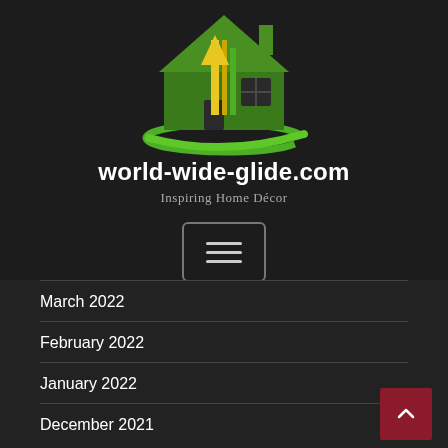[Figure (logo): House logo with green house silhouette and yellow/green vertical stripes, with a green swoosh underneath]
world-wide-glide.com
Inspiring Home Décor
[Figure (other): Hamburger menu button with three horizontal lines inside a rounded rectangle border]
March 2022
February 2022
January 2022
December 2021